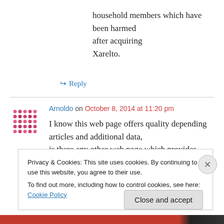household members which have been harmed after acquiring Xarelto.
↳ Reply
Arnoldo on October 8, 2014 at 11:20 pm
I know this web page offers quality depending articles and additional data, is there any other web page which provides
Privacy & Cookies: This site uses cookies. By continuing to use this website, you agree to their use.
To find out more, including how to control cookies, see here: Cookie Policy
Close and accept